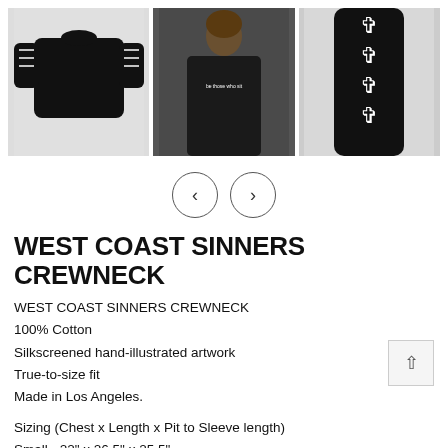[Figure (photo): Three product images of West Coast Sinners Crewneck: front view on grey background, model wearing it, and sleeve detail with cross pattern]
[Figure (infographic): Navigation arrows (left and right) for image carousel]
WEST COAST SINNERS CREWNECK
WEST COAST SINNERS CREWNECK
100% Cotton
Silkscreened hand-illustrated artwork
True-to-size fit
Made in Los Angeles.
Sizing (Chest x Length x Pit to Sleeve length)
Small - 22" x 26.5" x 25.5"
Medium - 23" x 27.5" x 26"